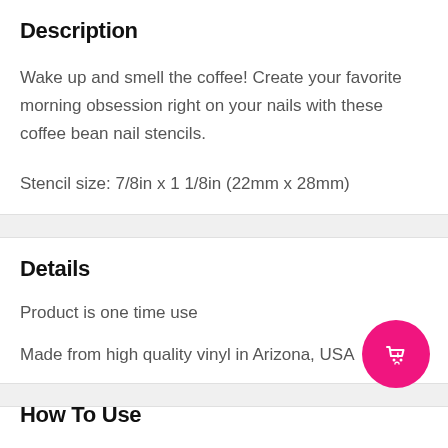Description
Wake up and smell the coffee! Create your favorite morning obsession right on your nails with these coffee bean nail stencils.
Stencil size: 7/8in x 1 1/8in (22mm x 28mm)
Details
Product is one time use
Made from high quality vinyl in Arizona, USA
How To Use
[Figure (illustration): Hot pink circular floating action button with a shopping bag and heart icon]